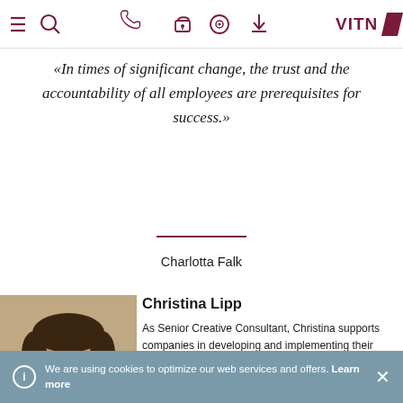VITA — navigation bar with menu, search, phone, lock, info, download icons and VITA logo
«In times of significant change, the trust and the accountability of all employees are prerequisites for success.»
Charlotta Falk
[Figure (photo): Portrait photo of Christina Lipp, a woman with short brown hair, smiling]
Christina Lipp
As Senior Creative Consultant, Christina supports companies in developing and implementing their
We are using cookies to optimize our web services and offers. Learn more